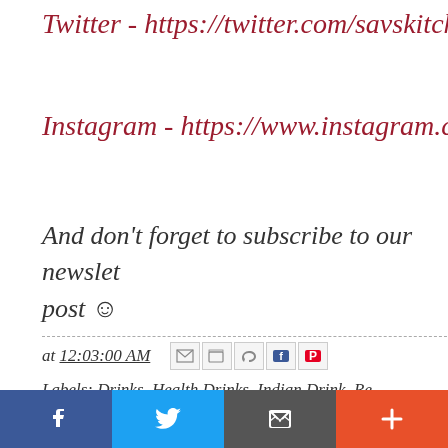Twitter - https://twitter.com/savskitchen
Instagram - https://www.instagram.com/sa…
And don't forget to subscribe to our newsletter so you get notified of each new post 🙂
at 12:03:00 AM
Labels: Drinks, Health Drinks, Indian Drink, Re…
[Figure (other): Social media share bar with Facebook (blue), Twitter (light blue), Email/bookmark (dark gray), and Plus/more (orange-red) buttons]